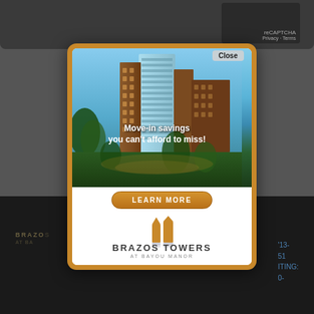[Figure (screenshot): Screenshot of a webpage showing a popup advertisement for Brazos Towers at Bayou Manor. The popup has a gold/orange border, contains a photo of a luxury high-rise apartment building, text 'Move-in savings you can't afford to miss!', a 'LEARN MORE' button, and the Brazos Towers at Bayou Manor logo. A 'Close' button appears top-right of popup. Background shows dark webpage with partial reCAPTCHA widget visible at top and partial Brazos Towers branding at bottom.]
reCAPTCHA
Privacy · Terms
Close
Move-in savings you can't afford to miss!
LEARN MORE
BRAZOS TOWERS
AT BAYOU MANOR